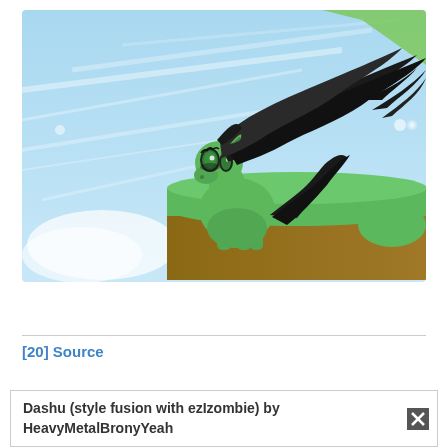[Figure (illustration): Digital illustration of a small green cartoon pony with large green eyes and long black hair blowing in the wind, sitting on a grassy green cliff edge against a light blue sky with white streaks and bokeh dots. A green diagonal shape appears in the upper right corner.]
[20] Source
Dashu (style fusion with ezIzombie) by HeavyMetalBronyYeah